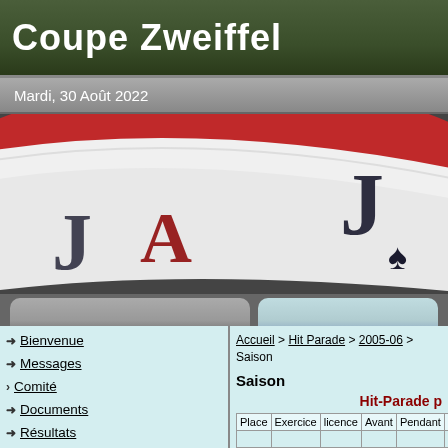Coupe Zweiffel
Mardi, 30 Août 2022
[Figure (photo): Playing cards (Jack and Ace of Spades) fanned out against a red and white background]
→ Bienvenue
→ Messages
> Comité
→ Documents
→ Résultats
→ Calendrier
→ Palmares
> Club Points
Accueil > Hit Parade > 2005-06 > Saison
Saison
Hit-Parade p
| Place | Exercice | licence | Avant | Pendant | Ap |
| --- | --- | --- | --- | --- | --- |